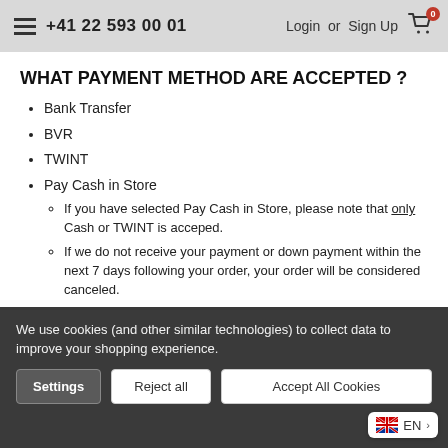+41 22 593 00 01  Login or Sign Up
WHAT PAYMENT METHOD ARE ACCEPTED ?
Bank Transfer
BVR
TWINT
Pay Cash in Store
If you have selected Pay Cash in Store, please note that only Cash or TWINT is acceped.
If we do not receive your payment or down payment within the next 7 days following your order, your order will be considered canceled.
DO YOU HAVE A STORE ?
We use cookies (and other similar technologies) to collect data to improve your shopping experience.